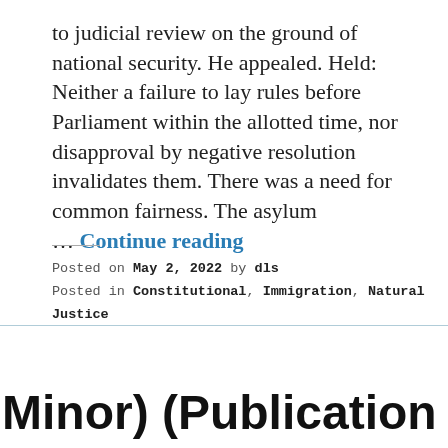to judicial review on the ground of national security. He appealed. Held: Neither a failure to lay rules before Parliament within the allotted time, nor disapproval by negative resolution invalidates them. There was a need for common fairness. The asylum … Continue reading
Posted on May 2, 2022 by dls
Posted in Constitutional, Immigration, Natural Justice
[Figure (other): A teal/blue chat widget box with text 'Want to ask a Solicitor online now? I can connect you ...' and a circular avatar photo of a woman with dark hair on the right side.]
Minor) (Publication of